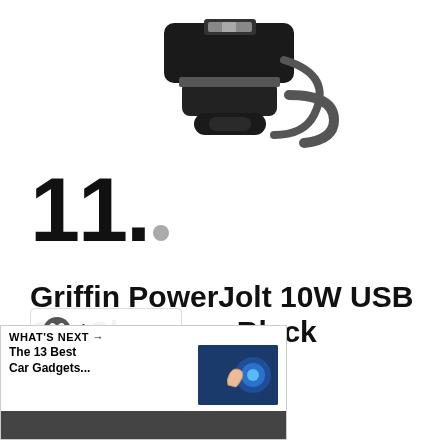[Figure (photo): A black Griffin PowerJolt USB car charger device photographed on a white background, shown at an angle with a USB port visible on top and cable/clip at the side.]
11.
Griffin PowerJolt 10W USB Car Charger – Black
store.vizaca.com
$6.99
WHAT'S NEXT → The 13 Best Car Gadgets...